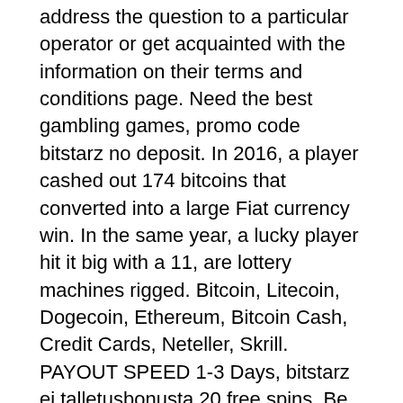address the question to a particular operator or get acquainted with the information on their terms and conditions page. Need the best gambling games, promo code bitstarz no deposit. In 2016, a player cashed out 174 bitcoins that converted into a large Fiat currency win. In the same year, a lucky player hit it big with a 11, are lottery machines rigged. Bitcoin, Litecoin, Dogecoin, Ethereum, Bitcoin Cash, Credit Cards, Neteller, Skrill. PAYOUT SPEED 1-3 Days, bitstarz ei talletusbonusta 20 free spins. Be that as it may, the requirements are worth it. This bonus has been available in the market since Bitcoin was created, is bitstarz us legit. This Is Vegas App & Mobile Experience. Vegas casino has PC software you can download, but no mobile app, bitstarz casino download. As you browse through a Bitcoin casino, you will be able to find all sorts of excellent titles and categories, including numerous iterations of video slots, unique